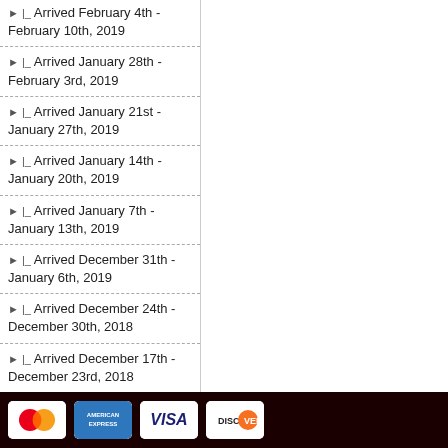▶ |_ Arrived February 4th - February 10th, 2019
▶ |_ Arrived January 28th - February 3rd, 2019
▶ |_ Arrived January 21st - January 27th, 2019
▶ |_ Arrived January 14th - January 20th, 2019
▶ |_ Arrived January 7th - January 13th, 2019
▶ |_ Arrived December 31th - January 6th, 2019
▶ |_ Arrived December 24th - December 30th, 2018
▶ |_ Arrived December 17th - December 23rd, 2018
▶ |_ Arrived December 10th - December 16th, 2018
▶ |_ Arrived December 3rd - December 9th, 2018
▶ |_ Arrived November 26th - December 2nd, 2018
▶ |_ Arrived November 19th - November 25th, 2018
[Figure (logo): Payment method logos: MasterCard, American Express, Visa, Discover on dark footer bar]